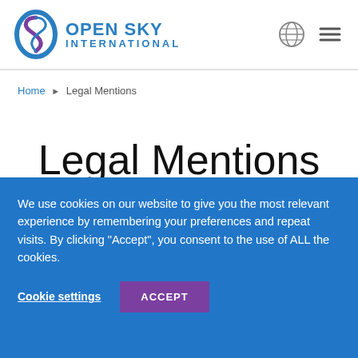OPEN SKY INTERNATIONAL
Home ▶ Legal Mentions
Legal Mentions
We use cookies on our website to give you the most relevant experience by remembering your preferences and repeat visits. By clicking "Accept", you consent to the use of ALL the cookies.
Cookie settings  ACCEPT